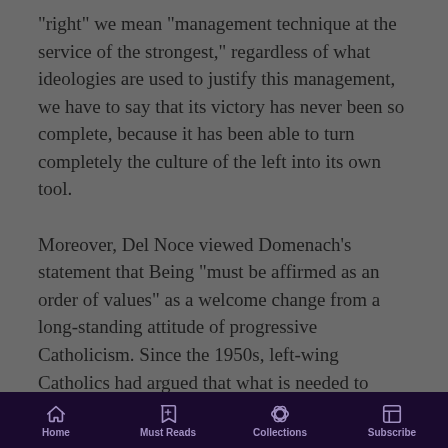“right” we mean “management technique at the service of the strongest,” regardless of what ideologies are used to justify this management, we have to say that its victory has never been so complete, because it has been able to turn completely the culture of the left into its own tool.
Moreover, Del Noce viewed Domenach’s statement that Being “must be affirmed as an order of values” as a welcome change from a long-standing attitude of progressive Catholicism. Since the 1950s, left-wing Catholics had argued that what is needed to dialogue with the secular world is “a philosophically neutral left, guided only by the ethical presupposition
Home | Must Reads | Collections | Subscribe